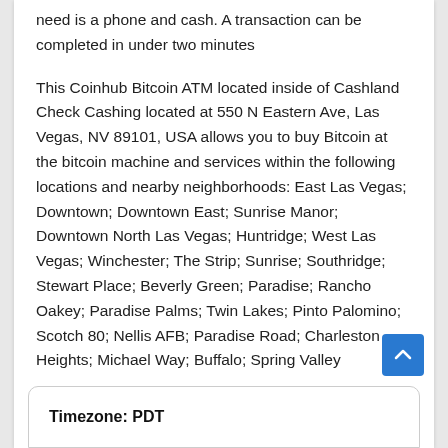need is a phone and cash. A transaction can be completed in under two minutes
This Coinhub Bitcoin ATM located inside of Cashland Check Cashing located at 550 N Eastern Ave, Las Vegas, NV 89101, USA allows you to buy Bitcoin at the bitcoin machine and services within the following locations and nearby neighborhoods: East Las Vegas; Downtown; Downtown East; Sunrise Manor; Downtown North Las Vegas; Huntridge; West Las Vegas; Winchester; The Strip; Sunrise; Southridge; Stewart Place; Beverly Green; Paradise; Rancho Oakey; Paradise Palms; Twin Lakes; Pinto Palomino; Scotch 80; Nellis AFB; Paradise Road; Charleston Heights; Michael Way; Buffalo; Spring Valley
Timezone: PDT